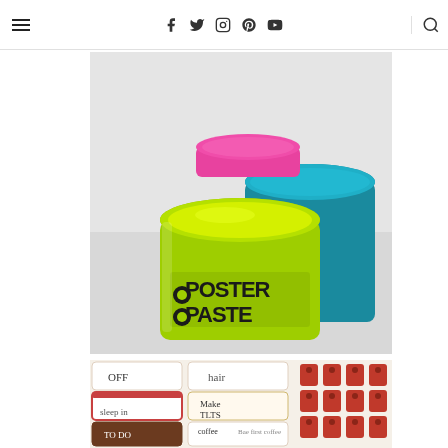Navigation bar with hamburger menu, social icons (Facebook, Twitter, Instagram, Pinterest, YouTube), and search icon
[Figure (photo): Three jars of poster paste/slime in neon yellow-green, hot pink, and teal colors. The yellow-green jar is in the foreground with a cartoon 'Poster Paste' label. The pink jar's lid is visible on top. The teal jar is partially visible on the right. All jars are open showing colorful paste inside.]
[Figure (photo): Planner sticker sheets showing handwritten-style stickers including 'OFF', 'hair', 'sleep in', 'Make TLTS', 'TO DO', 'coffee', 'Bae first coffee', and decorative coffee cup patterns in red and brown colors.]